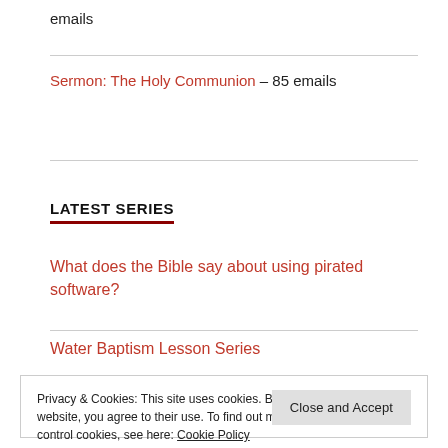emails
Sermon: The Holy Communion – 85 emails
LATEST SERIES
What does the Bible say about using pirated software?
Water Baptism Lesson Series
Privacy & Cookies: This site uses cookies. By continuing to use this website, you agree to their use. To find out more, including how to control cookies, see here: Cookie Policy
Close and Accept